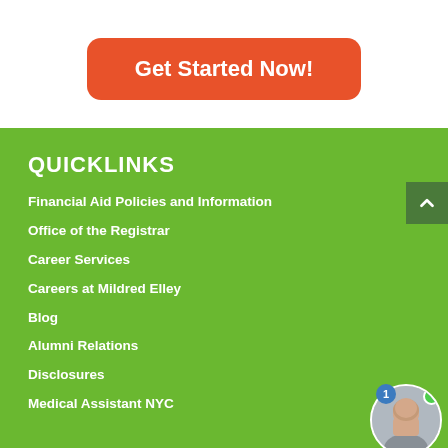[Figure (other): Orange rounded button with text 'Get Started Now!' on white background card]
QUICKLINKS
Financial Aid Policies and Information
Office of the Registrar
Career Services
Careers at Mildred Elley
Blog
Alumni Relations
Disclosures
Medical Assistant NYC